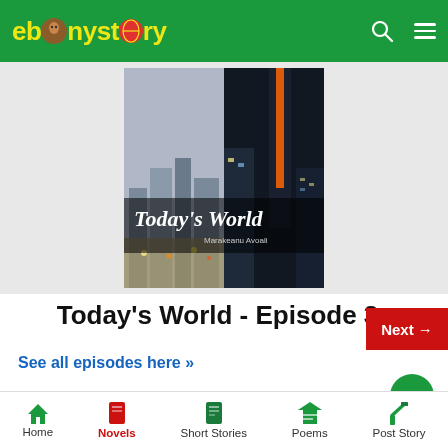ebonystory
[Figure (photo): Book cover of 'Today's World' by Marakeanu Avoali showing city scenes – night skyline with lit buildings on right, daytime city on left, title text overlay in handwritten style]
Today's World - Episode 3
Next →
See all episodes here »
20 Scholarships for African Students 2021-2022 (Appig
Home | Novels | Short Stories | Poems | Post Story